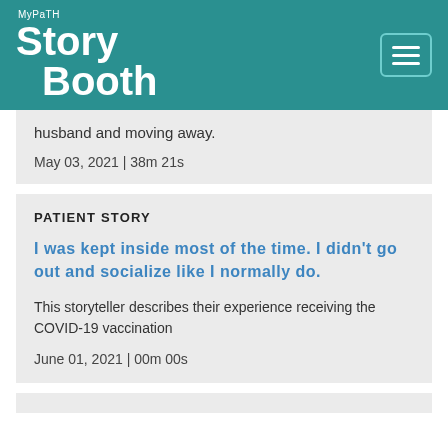MyPaTH Story Booth
husband and moving away.

May 03, 2021 | 38m 21s
PATIENT STORY
I was kept inside most of the time. I didn't go out and socialize like I normally do.
This storyteller describes their experience receiving the COVID-19 vaccination
June 01, 2021 | 00m 00s